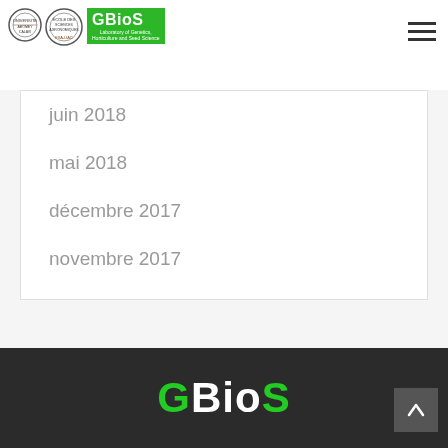GBioS - Laboratory of Genetics, Horticulture and Seed Science
juin 2018
mai 2018
décembre 2017
novembre 2017
septembre 2017
août 2017
mars 2017
GBioS